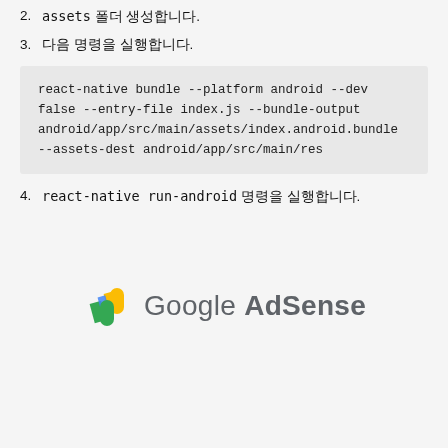2. `assets` 폴더 생성합니다.
3. 다음 명령을 실행합니다.
react-native bundle --platform android --dev false --entry-file index.js --bundle-output android/app/src/main/assets/index.android.bundle --assets-dest android/app/src/main/res
4. react-native run-android 명령을 실행합니다.
[Figure (logo): Google AdSense logo with colorful icon and grey text]